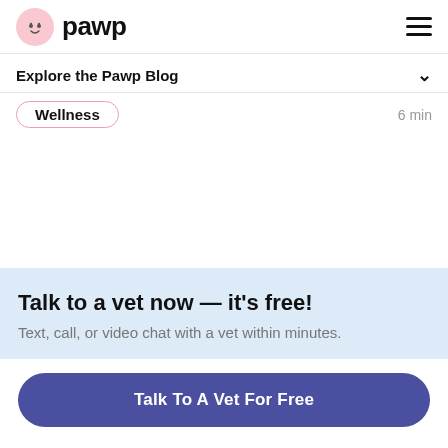pawp
Explore the Pawp Blog
Wellness  6 min
Talk to a vet now — it's free!
Text, call, or video chat with a vet within minutes.
Talk To A Vet For Free